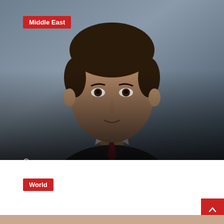[Figure (photo): Portrait photo of a middle-aged man in a suit and tie, used as hero image for news article]
Middle East
July 17, 2022
Ex-Khashoggi lawyer sentenced to 3 years in prison by UAE court, state media says
World